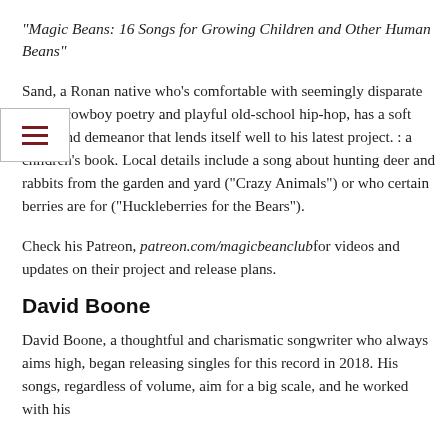“Magic Beans: 16 Songs for Growing Children and Other Human Beans”
Sand, a Ronan native who’s comfortable with seemingly disparate songs, cowboy poetry and playful old-school hip-hop, has a soft voice and demeanor that lends itself well to his latest project. : a children’s book. Local details include a song about hunting deer and rabbits from the garden and yard (“Crazy Animals”) or who certain berries are for (“Huckleberries for the Bears”).
Check his Patreon, patreon.com/magicbeanclub for videos and updates on their project and release plans.
David Boone
David Boone, a thoughtful and charismatic songwriter who always aims high, began releasing singles for this record in 2018. His songs, regardless of volume, aim for a big scale, and he worked with his